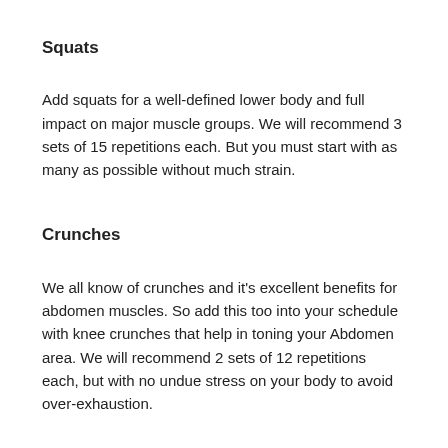Squats
Add squats for a well-defined lower body and full impact on major muscle groups. We will recommend 3 sets of 15 repetitions each. But you must start with as many as possible without much strain.
Crunches
We all know of crunches and it’s excellent benefits for abdomen muscles. So add this too into your schedule with knee crunches that help in toning your Abdomen area. We will recommend 2 sets of 12 repetitions each, but with no undue stress on your body to avoid over-exhaustion.